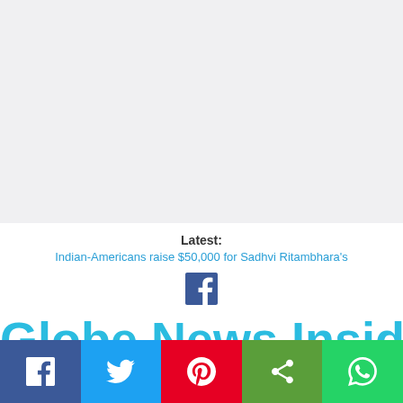[Figure (other): Light gray advertisement/placeholder area]
Latest:
Indian-Americans raise $50,000 for Sadhvi Ritambhara's
[Figure (logo): Facebook 'f' logo icon in dark blue]
Globe News Insider
[Figure (infographic): Social media share bar with Facebook, Twitter, Pinterest, Share, and WhatsApp buttons]